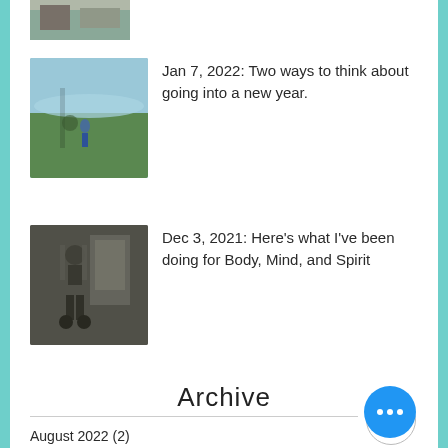[Figure (photo): Partially cropped photo at the top of the page showing an outdoor scene]
[Figure (photo): Thumbnail photo of a person standing near water outdoors]
Jan 7, 2022: Two ways to think about going into a new year.
[Figure (photo): Thumbnail photo of a person exercising with weights in a gym]
Dec 3, 2021: Here's what I've been doing for Body, Mind, and Spirit
Archive
August 2022 (2)
June 2022 (1)
May 2022 (2)
March 2022 (2)
February 2022 (1)